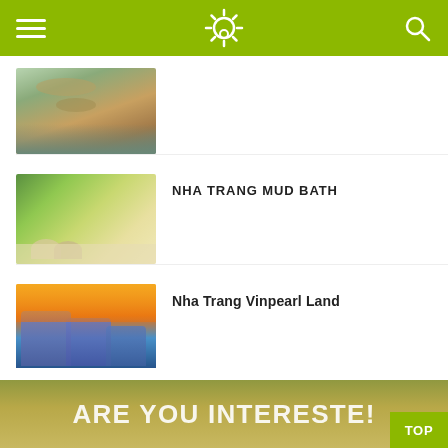Navigation header with hamburger menu, sun logo, and search icon
[Figure (photo): Scenic rocks and water landscape photo thumbnail]
[Figure (photo): Two people relaxing in an outdoor mud bath surrounded by trees]
NHA TRANG MUD BATH
[Figure (photo): Vinpearl Land resort at sunset with colorful buildings and ocean]
Nha Trang Vinpearl Land
1 2 3 4 5
ARE YOU INTERESTED?